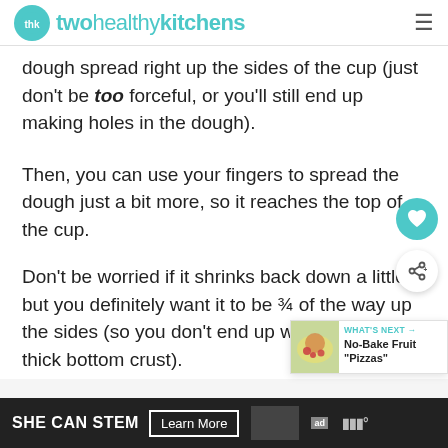twohealthykitchens
dough spread right up the sides of the cup (just don't be too forceful, or you'll still end up making holes in the dough).
Then, you can use your fingers to spread the dough just a bit more, so it reaches the top of the cup.
Don't be worried if it shrinks back down a little, but you definitely want it to be ¾ of the way up the sides (so you don't end up with a much-too-thick bottom crust).
[Figure (other): WHAT'S NEXT callout widget showing No-Bake Fruit Pizzas with thumbnail image]
SHE CAN STEM Learn More ad